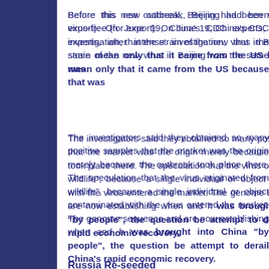Before this new outbreak, Beijing had been virus-free (for export). On June 19, China's CDC experts, after intense investigation, that the strain of the new virus in Beijing was the same mean only that it came from the US because that was
The investigators said they obtained so many positive samples that the market was the origin merely because the outbreak took place there. The speculation that the virus originated from wildlife", because a single individual or object contaminated with the virus entered the market. The genome sequence and are now establishing when and how. was brought into China "by people", the question be attempt to derail China's rapid economic recovery.
Russia Re-seeded
There is something equally strange about the virus in Russia, rising by 5,000, then 10,000 and 20,000 per day. Virus infections until it peaks, as happened with all other countries. unsuccessful epidemic, and the Russian government t